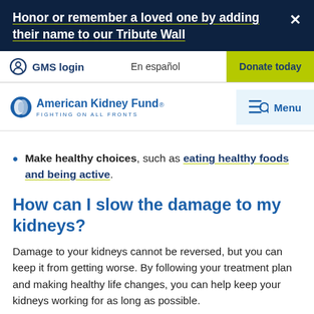Honor or remember a loved one by adding their name to our Tribute Wall
GMS login   En español   Donate today
[Figure (logo): American Kidney Fund logo with tagline FIGHTING ON ALL FRONTS and Menu button]
Make healthy choices, such as eating healthy foods and being active.
How can I slow the damage to my kidneys?
Damage to your kidneys cannot be reversed, but you can keep it from getting worse. By following your treatment plan and making healthy life changes, you can help keep your kidneys working for as long as possible.